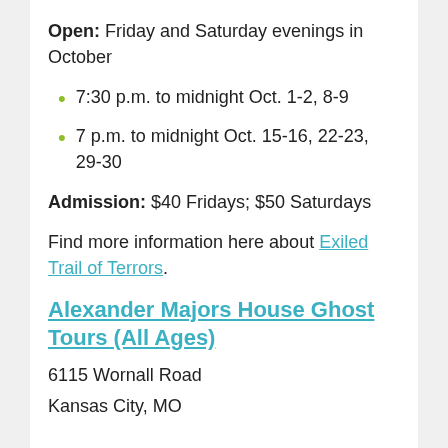Open: Friday and Saturday evenings in October
7:30 p.m. to midnight Oct. 1-2, 8-9
7 p.m. to midnight Oct. 15-16, 22-23, 29-30
Admission: $40 Fridays; $50 Saturdays
Find more information here about Exiled Trail of Terrors.
Alexander Majors House Ghost Tours (All Ages)
6115 Wornall Road
Kansas City, MO